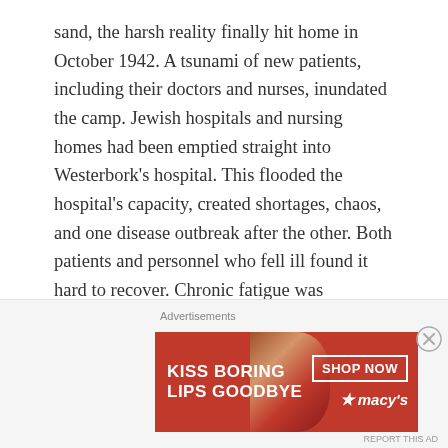sand, the harsh reality finally hit home in October 1942. A tsunami of new patients, including their doctors and nurses, inundated the camp. Jewish hospitals and nursing homes had been emptied straight into Westerbork's hospital. This flooded the hospital's capacity, created shortages, chaos, and one disease outbreak after the other. Both patients and personnel who fell ill found it hard to recover. Chronic fatigue was endemic. Camp disease and relentless diarrhea were common. Tuberculosis, measles, diphtheria, yellow fever, whooping cough, scarlet fever, and lice all reigned supreme. Quarantine measures became necessary, and provided one last reason to delay transport. Escape was now virtually impossible. Suicide attempts increased to around
Advertisements
[Figure (illustration): Advertisement banner for Macy's lip product. Red background with white text reading 'KISS BORING LIPS GOODBYE', a photo of lips with red lipstick, a 'SHOP NOW' button, and the Macy's logo with star.]